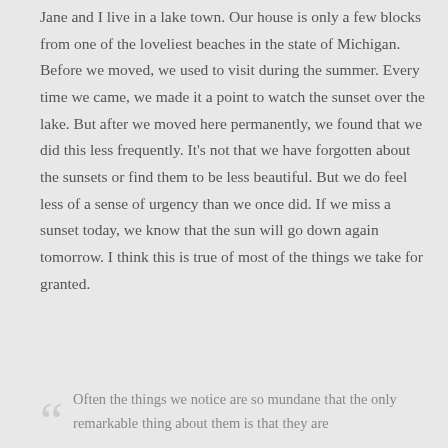Jane and I live in a lake town. Our house is only a few blocks from one of the loveliest beaches in the state of Michigan. Before we moved, we used to visit during the summer. Every time we came, we made it a point to watch the sunset over the lake. But after we moved here permanently, we found that we did this less frequently. It's not that we have forgotten about the sunsets or find them to be less beautiful. But we do feel less of a sense of urgency than we once did. If we miss a sunset today, we know that the sun will go down again tomorrow. I think this is true of most of the things we take for granted.
Often the things we notice are so mundane that the only remarkable thing about them is that they are